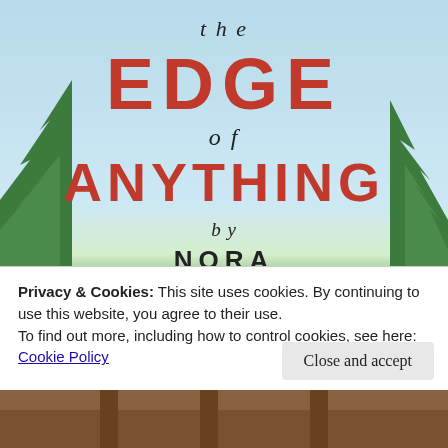[Figure (illustration): Book cover of 'The Edge of Anything' by Nora, showing a light blue sky background with green trees/forest silhouette at the bottom. Large red bold text displays 'EDGE' and 'ANYTHING', with italic serif text for 'the', 'of', and 'by'.]
Privacy & Cookies: This site uses cookies. By continuing to use this website, you agree to their use.
To find out more, including how to control cookies, see here:
Cookie Policy
Close and accept